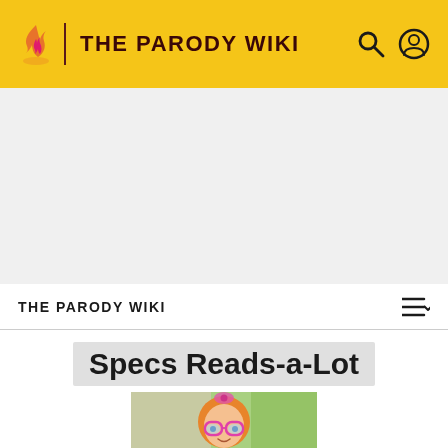THE PARODY WIKI
Specs Reads-a-Lot
[Figure (illustration): Animated character Specs Reads-a-Lot: a cartoon girl with orange/pumpkin-colored round hair, pink bow, round pink glasses with blue lenses, and a white outfit, standing in front of a colorful background.]